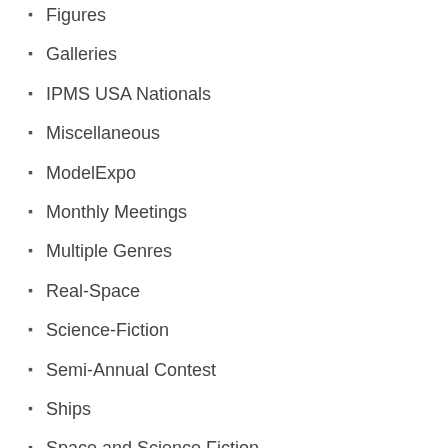Figures
Galleries
IPMS USA Nationals
Miscellaneous
ModelExpo
Monthly Meetings
Multiple Genres
Real-Space
Science-Fiction
Semi-Annual Contest
Ships
Space and Science Fiction
Uncategorized
ARCHIVES
August 2022